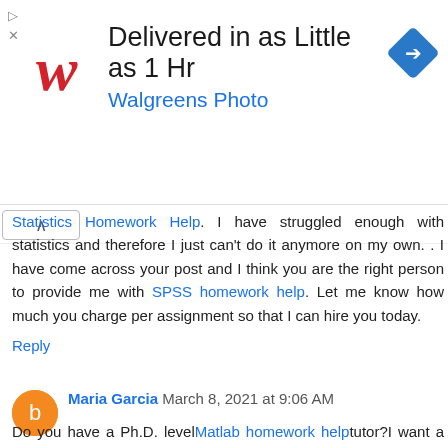[Figure (other): Walgreens Photo advertisement banner with logo, text 'Delivered in as Little as 1 Hr' and 'Walgreens Photo', and a navigation arrow icon]
Statistics Homework Help. I have struggled enough with statistics and therefore I just can't do it anymore on my own. . I have come across your post and I think you are the right person to provide me with SPSS homework help. Let me know how much you charge per assignment so that I can hire you today.
Reply
Maria Garcia  March 8, 2021 at 9:06 AM
Do you have a Ph.D. level Matlab homework help tutor?I want a very experienced person to work on my control systems project.The  Matlab assignment help expert you assign me must be willing to complete my project within one month. Within this period I will also give him/her around two assignments to complete for me. I have sent you an email with the requirements and the topic of the project